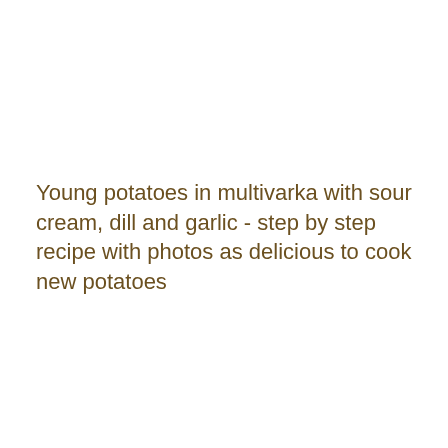Young potatoes in multivarka with sour cream, dill and garlic - step by step recipe with photos as delicious to cook new potatoes